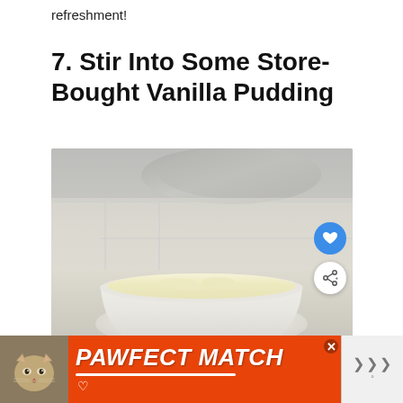refreshment!
7. Stir Into Some Store-Bought Vanilla Pudding
[Figure (photo): A white ceramic bowl filled with creamy vanilla pudding, placed on a light surface with a gray cloth in the background. Two circular icon buttons (heart/favorite and share) overlay the top-right of the image.]
[Figure (infographic): Orange advertisement banner for 'PAWFECT MATCH' featuring a cat photo on the left and bold white italic text with underline on an orange background, with an X close button and a gray section on the right.]